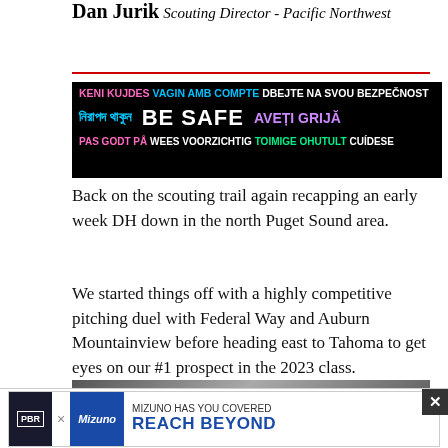Dan Jurik
Scouting Director - Pacific Northwest
[Figure (infographic): Multilingual BE SAFE safety banner with text in multiple languages on black background]
Back on the scouting trail again recapping an early week DH down in the north Puget Sound area.
We started things off with a highly competitive pitching duel with Federal Way and Auburn Mountainview before heading east to Tahoma to get eyes on our #1 prospect in the 2023 class.
[Figure (photo): Black and white photo with JSV label and PBR Prep Baseball Report logo]
[Figure (infographic): PBR x Mizuno advertisement banner: MIZUNO HAS YOU COVERED REACH BEYOND]